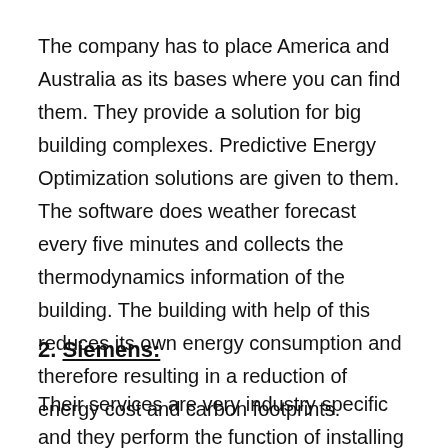The company has to place America and Australia as its bases where you can find them. They provide a solution for big building complexes. Predictive Energy Optimization solutions are given to them. The software does weather forecast every five minutes and collects the thermodynamics information of the building. The building with help of this reduces its own energy consumption and therefore resulting in a reduction of energy cost and carbon footprints.
2. Siemens:
Their services are very industry specific and they perform the function of installing the data acquisition